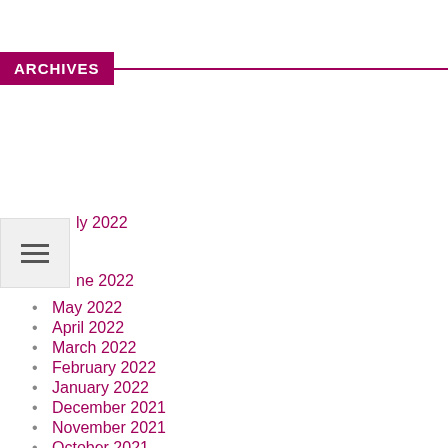ARCHIVES
July 2022
June 2022
May 2022
April 2022
March 2022
February 2022
January 2022
December 2021
November 2021
October 2021
September 2021
August 2021
July 2021
June 2021